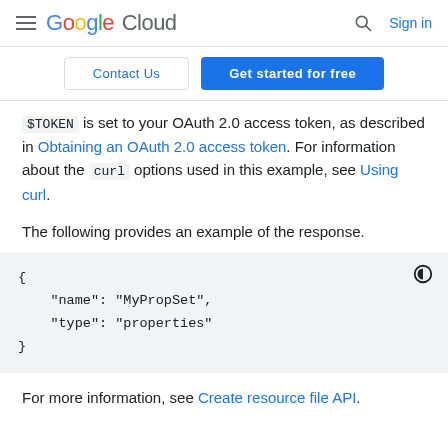Google Cloud   Sign in
Contact Us   Get started for free
$TOKEN is set to your OAuth 2.0 access token, as described in Obtaining an OAuth 2.0 access token. For information about the curl options used in this example, see Using curl.
The following provides an example of the response.
[Figure (screenshot): Code block showing JSON response: { "name": "MyPropSet", "type": "properties" }]
For more information, see Create resource file API.